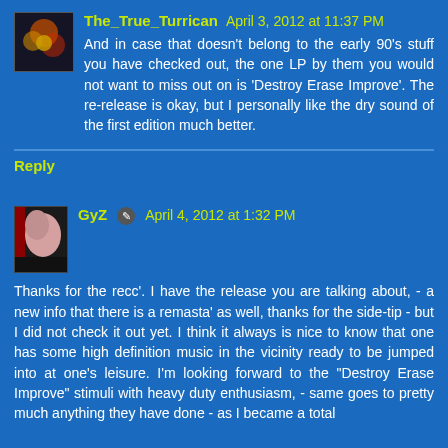The_True_Turrican April 3, 2012 at 11:37 PM
And in case that doesn't belong to the early 90's stuff you have checked out, the one LP by them you would not want to miss out on is 'Destroy Erase Improve'. The re-release is okay, but I personally like the dry sound of the first edition much better.
Reply
GyZ April 4, 2012 at 1:32 PM
Thanks for the recc'. I have the release you are talking about, - a new info that there is a remasta' as well, thanks for the side-tip - but I did not check it out yet. I think it always is nice to know that one has some high definition music in the vicinity ready to be jumped into at one's leisure. I'm looking forward to the "Destroy Erase Improve" stimuli with heavy duty enthusiasm, - same goes to pretty much anything they have done - as I became a total